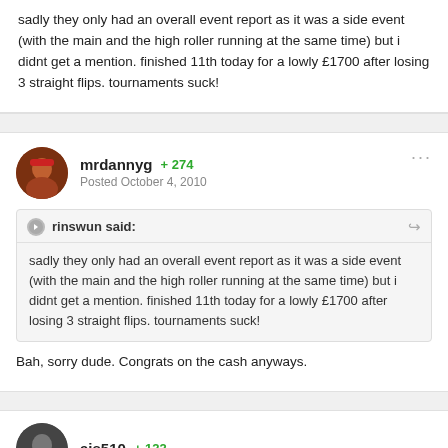sadly they only had an overall event report as it was a side event (with the main and the high roller running at the same time) but i didnt get a mention. finished 11th today for a lowly £1700 after losing 3 straight flips. tournaments suck!
mrdannyg  +274  Posted October 4, 2010
rinswun said: sadly they only had an overall event report as it was a side event (with the main and the high roller running at the same time) but i didnt get a mention. finished 11th today for a lowly £1700 after losing 3 straight flips. tournaments suck!
Bah, sorry dude. Congrats on the cash anyways.
ajs510  +122